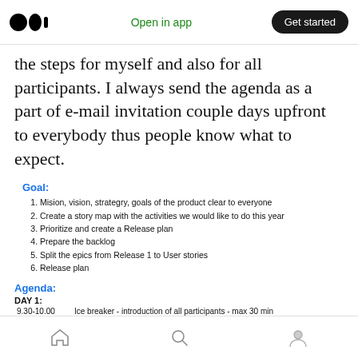Open in app | Get started
the steps for myself and also for all participants. I always send the agenda as a part of e-mail invitation couple days upfront to everybody thus people know what to expect.
Goal:
Mision, vision, strategry, goals of the product clear to everyone
Create a story map with the activities we would like to do this year
Prioritize and create a Release plan
Prepare the backlog
Split the epics from Release 1 to User stories
Release plan
Agenda:
DAY 1:
9.30-10.00   Ice breaker - introduction of all participants - max 30 min
10.00-11.00.  Presentation of concept shape / focus / vision for 2017 - 1 hour
11.00-11.15  Coffee break
11.15-11.45  Introduction of the process of Story mapping (Katerina)
11.45-12.30  Define the personas and users of the platform + short description
12.30-13.30.  Lunch
13.30-15.30.  Activities of users on the platform / group them / remove duplicates / map them
Home | Search | Profile